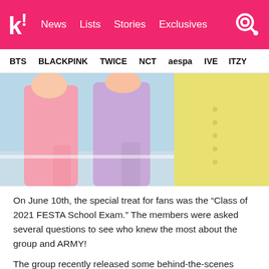kk! News Lists Stories Exclusives
BTS BLACKPINK TWICE NCT aespa IVE ITZY
[Figure (photo): Group photo of K-pop members in pastel colored outfits (pink, lavender, yellow) against a light blue background, cropped at torso level]
On June 10th, the special treat for fans was the “Class of 2021 FESTA School Exam.” The members were asked several questions to see who knew the most about the group and ARMY!
The group recently released some behind-the-scenes footage on their YouTube channel from